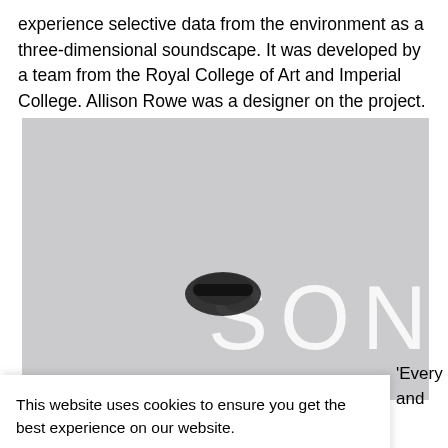experience selective data from the environment as a three-dimensional soundscape. It was developed by a team from the Royal College of Art and Imperial College. Allison Rowe was a designer on the project.
[Figure (screenshot): Screenshot of a webpage showing a light gray image area with the text 'SONIA' partially visible in white letters, along with a dark object (possibly a wearable device) in the center of the image.]
This website uses cookies to ensure you get the best experience on our website.
Learn more
Got it!
'Every and